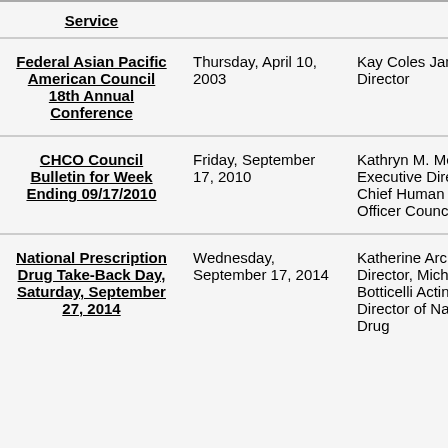| Service | Date | Speaker |
| --- | --- | --- |
| Federal Asian Pacific American Council 18th Annual Conference | Thursday, April 10, 2003 | Kay Coles James, Director |
| CHCO Council Bulletin for Week Ending 09/17/2010 | Friday, September 17, 2010 | Kathryn M. Medina, Executive Director, Chief Human Capital Officer Council |
| National Prescription Drug Take-Back Day, Saturday, September 27, 2014 | Wednesday, September 17, 2014 | Katherine Archuleta Director, Michael Botticelli Acting Director of National Drug |